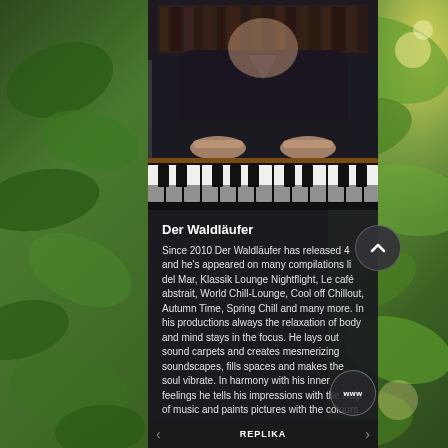[Figure (photo): Person playing a keyboard/piano instrument, wearing dark clothing, with bookshelves visible in the background. The image shows hands on piano keys.]
Der Waldläufer
Since 2010 Der Waldläufer has released 4 and he's appeared on many compilations li del Mar, Klassik Lounge Nightflight, Le café abstrait, World Chill-Lounge, Cool off Chillout, Autumn Time, Spring Chill and many more. In his productions always the relaxation of body and mind stays in the focus. He lays out sound carpets and creates mesmerizing soundscapes, fills spaces and makes the soul vibrate. In harmony with his inner feelings he tells his impressions with the help of music and paints pictures with the colours of sound. His organic music always should be a counterpoint to hectic, work & stress.
[Figure (other): Circular scroll-up button with chevron arrow pointing upward]
[Figure (other): Circular WWW website button]
REPLIKA